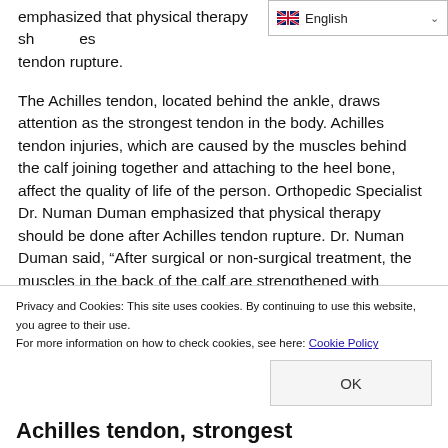emphasized that physical therapy should be done after Achilles tendon rupture.
The Achilles tendon, located behind the ankle, draws attention as the strongest tendon in the body. Achilles tendon injuries, which are caused by the muscles behind the calf joining together and attaching to the heel bone, affect the quality of life of the person. Orthopedic Specialist Dr. Numan Duman emphasized that physical therapy should be done after Achilles tendon rupture. Dr. Numan Duman said, “After surgical or non-surgical treatment, the muscles in the back of the calf are strengthened with physical therapy. Afterwards, it is possible to
Privacy and Cookies: This site uses cookies. By continuing to use this website, you agree to their use.
For more information on how to check cookies, see here: Cookie Policy
OK
Achilles tendon, strongest